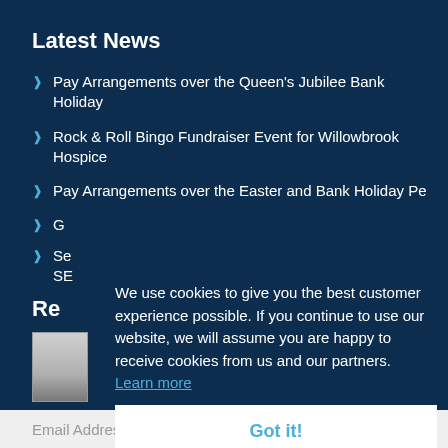Latest News
Pay Arrangements over the Queen's Jubilee Bank Holiday
Rock & Roll Bingo Fundraiser Event for Willowbrook Hospice
Pay Arrangements over the Easter and Bank Holiday Pe
G
Se ... SE
Re
[Figure (photo): Thumbnail image partially visible]
We use cookies to give you the best customer experience possible. If you continue to use our website, we will assume you are happy to receive cookies from us and our partners. Learn more
Got it!
Email Address